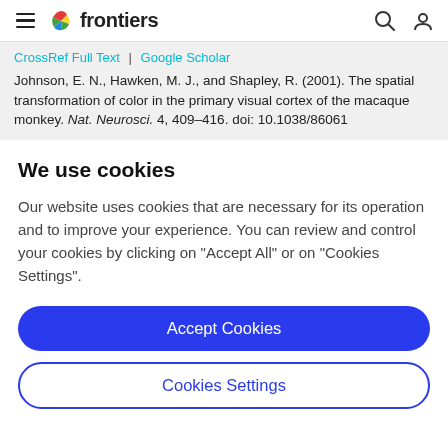frontiers
CrossRef Full Text | Google Scholar
Johnson, E. N., Hawken, M. J., and Shapley, R. (2001). The spatial transformation of color in the primary visual cortex of the macaque monkey. Nat. Neurosci. 4, 409–416. doi: 10.1038/86061
We use cookies
Our website uses cookies that are necessary for its operation and to improve your experience. You can review and control your cookies by clicking on "Accept All" or on "Cookies Settings".
Accept Cookies
Cookies Settings